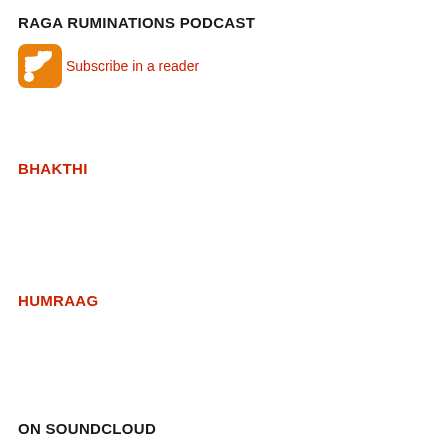RAGA RUMINATIONS PODCAST
Subscribe in a reader
BHAKTHI
HUMRAAG
ON SOUNDCLOUD